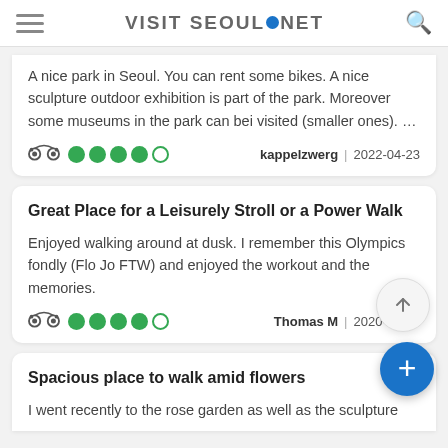VISIT SEOUL.NET
A nice park in Seoul. You can rent some bikes. A nice sculpture outdoor exhibition is part of the park. Moreover some museums in the park can bei visited (smaller ones). …
kappelzwerg | 2022-04-23
Great Place for a Leisurely Stroll or a Power Walk
Enjoyed walking around at dusk. I remember this Olympics fondly (Flo Jo FTW) and enjoyed the workout and the memories.
Thomas M | 2020-07-06
Spacious place to walk amid flowers
I went recently to the rose garden as well as the sculpture